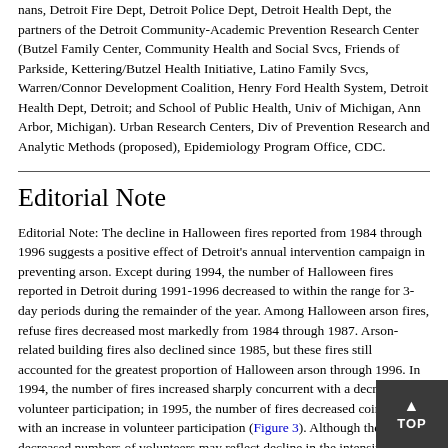nans, Detroit Fire Dept, Detroit Police Dept, Detroit Health Dept, the partners of the Detroit Community-Academic Prevention Research Center (Butzel Family Center, Community Health and Social Svcs, Friends of Parkside, Kettering/Butzel Health Initiative, Latino Family Svcs, Warren/Connor Development Coalition, Henry Ford Health System, Detroit Health Dept, Detroit; and School of Public Health, Univ of Michigan, Ann Arbor, Michigan). Urban Research Centers, Div of Prevention Research and Analytic Methods (proposed), Epidemiology Program Office, CDC.
Editorial Note
Editorial Note: The decline in Halloween fires reported from 1984 through 1996 suggests a positive effect of Detroit's annual intervention campaign in preventing arson. Except during 1994, the number of Halloween fires reported in Detroit during 1991-1996 decreased to within the range for 3-day periods during the remainder of the year. Among Halloween arson fires, refuse fires decreased most markedly from 1984 through 1987. Arson-related building fires also declined since 1985, but these fires still accounted for the greatest proportion of Halloween arson through 1996. In 1994, the number of fires increased sharply concurrent with a decrease in volunteer participation; in 1995, the number of fires decreased coincident with an increase in volunteer participation (Figure 3). Although the decreased numbers of volunteers may reflect decline in the intensity of other elements of the intervention, the contribution of each of these elements to changes in the number of fires cannot be